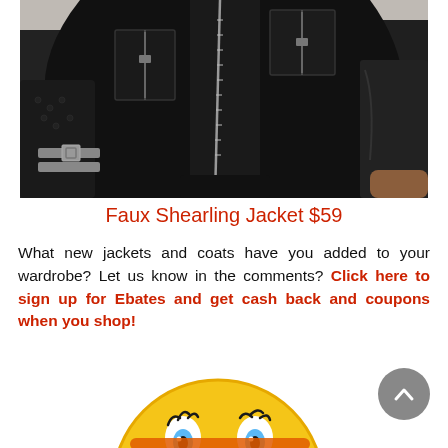[Figure (photo): Close-up photo of a black faux shearling leather jacket with zippers and buckle details on a light grey background]
Faux Shearling Jacket $59
What new jackets and coats have you added to your wardrobe? Let us know in the comments? Click here to sign up for Ebates and get cash back and coupons when you shop!
[Figure (illustration): Yellow smiley face emoji character with eyelashes and blue eyes, partially visible at bottom of page, with orange hair/body appearing at very bottom]